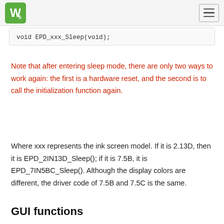Waveshare logo and navigation
void EPD_xxx_Sleep(void);
Note that after entering sleep mode, there are only two ways to work again: the first is a hardware reset, and the second is to call the initialization function again.
Where xxx represents the ink screen model. If it is 2.13D, then it is EPD_2IN13D_Sleep(); if it is 7.5B, it is EPD_7IN5BC_Sleep(). Although the display colors are different, the driver code of 7.5B and 7.5C is the same.
GUI functions